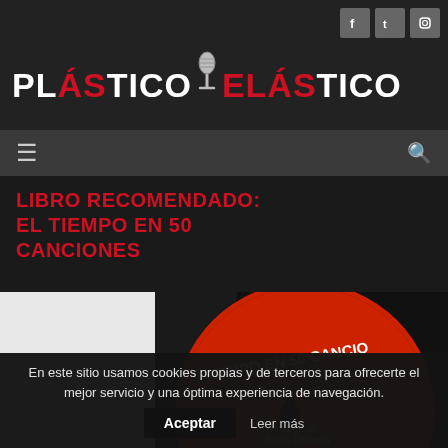[Figure (logo): Plástico Elástico website logo with microphone graphic, white and red text on dark background]
[Figure (other): Social media icons: Facebook, Twitter, Instagram on gray squares]
[Figure (other): Navigation bar with hamburger menu icon on left and search icon on right, dark gray background]
LIBRO RECOMENDADO: EL TIEMPO EN 50 CANCIONES
[Figure (photo): Book cover image showing a vinyl record with red label reading 'TIEMPO EN 50 CANCIO...' with guitar icon and text 'Prólogo de Jesús Ordovás']
En este sitio usamos cookies propias y de terceros para ofrecerte el mejor servicio y una óptima experiencia de navegación.
Aceptar  Leer más